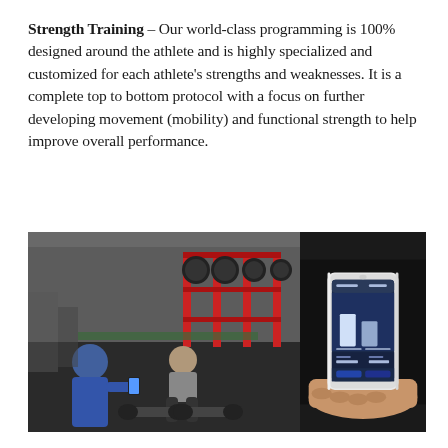Strength Training – Our world-class programming is 100% designed around the athlete and is highly specialized and customized for each athlete's strengths and weaknesses. It is a complete top to bottom protocol with a focus on further developing movement (mobility) and functional strength to help improve overall performance.
[Figure (photo): Two people in a gym; one person filming another athlete lifting heavy dumbbells from the floor in a gym with red squat racks and weight plates in background.]
[Figure (photo): A hand holding a smartphone with a fitness/training app displayed on screen showing workout data with blue interface elements on a dark background.]